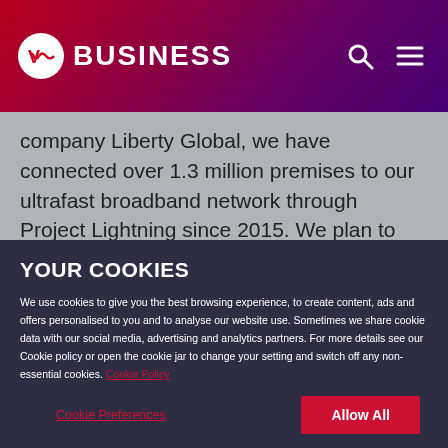Virgin Media Business — header with logo and navigation icons
company Liberty Global, we have connected over 1.3 million premises to our ultrafast broadband network through Project Lightning since 2015. We plan to connect additional premises which could extend the
YOUR COOKIES
We use cookies to give you the best browsing experience, to create content, ads and offers personalised to you and to analyse our website use. Sometimes we share cookie data with our social media, advertising and analytics partners. For more details see our Cookie policy or open the cookie jar to change your setting and switch off any non-essential cookies. Cookie Policy
Cookie Preferences | Allow All